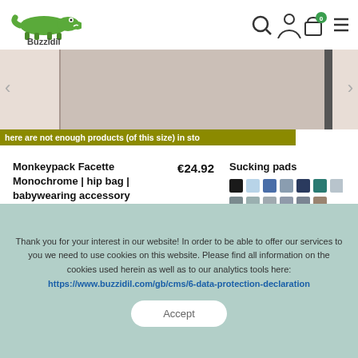[Figure (logo): Buzzidil green crocodile logo with text 'Buzzidil' below]
[Figure (screenshot): Navigation icons: search, user, cart with 0 badge, hamburger menu]
[Figure (photo): Partial product image visible in top right carousel area]
here are not enough products (of this size) in sto
Monkeypack Facette Monochrome | hip bag | babywearing accessory
€24.92
Sucking pads
[Figure (other): Color swatches grid for Sucking pads: black, light blue, dark blue, grey, navy, teal, light grey, dark grey, tan, beige, grey, grey, taupe, brown/print]
€16.58
View
View
Thank you for your interest in our website! In order to be able to offer our services to you we need to use cookies on this website. Please find all information on the cookies used herein as well as to our analytics tools here: https://www.buzzidil.com/gb/cms/6-data-protection-declaration
Accept